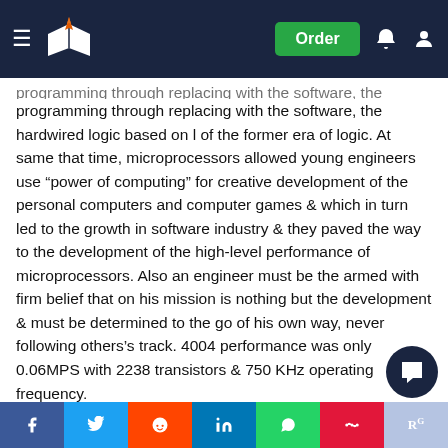Navigation bar with logo, Order button, notification and user icons
programming through replacing with the software, the hardwired logic based on l of the former era of logic. At same that time, microprocessors allowed young engineers use “power of computing” for creative development of the personal computers and computer games & which in turn led to the growth in software industry & they paved the way to the development of the high-level performance of microprocessors. Also an engineer must be the armed with firm belief that on his mission is nothing but the development & must be determined to the go of his own way, never following others’s track. 4004 performance was only 0.06MPS with 2238 transistors & 750 KHz operating frequency.
Microprocessors evolved 4 bit – 64 bit microprocessor, introducing m… & super-pipeline & super-scalar & VLIW& cache memory, and